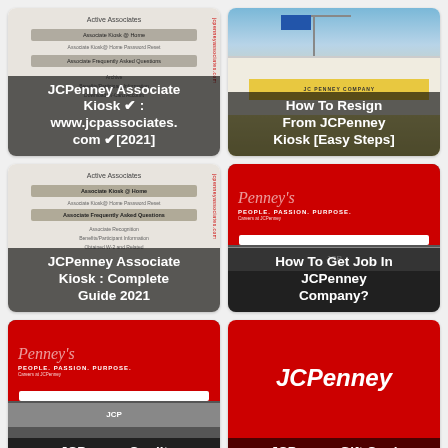[Figure (screenshot): JCPenney Associate Kiosk website screenshot showing menu items including Active Associates, Associate Kiosk @ Home, Password Reset, FAQs, with red vertical side text]
JCPenney Associate Kiosk ✔ : www.jcpassociates.com ✔[2021]
[Figure (photo): Street-level photo of JCPenney store exterior with yellow signage, street lamp, blue sky]
How To Resign From JCPenney Kiosk [Easy Steps]
[Figure (screenshot): JCPenney Associate Kiosk website screenshot similar to first, showing Active Associates menu with multiple options]
JCPenney Associate Kiosk : Complete Guide 2021
[Figure (screenshot): JCPenney Careers website screenshot showing red header with cursive Penney's logo, PEOPLE. PASSION. PURPOSE. slogan, Careers at JCPenney]
How To Get Job In JCPenney Company?
[Figure (screenshot): JCPenney Careers website screenshot similar to card 4]
JCPenney Credit
[Figure (photo): JCPenney gift card with red background and white JCPenney italic logo text]
JCPenney Gift Card